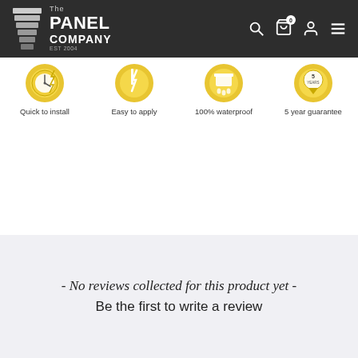[Figure (logo): The Panel Company logo with stacked panels icon, white text on dark background, EST 2004]
[Figure (infographic): Four product feature icons: Quick to install (clock icon), Easy to apply (brush icon), 100% waterproof (water drops icon), 5 year guarantee (medal icon) - all in yellow/gold circular style]
- No reviews collected for this product yet -
Be the first to write a review